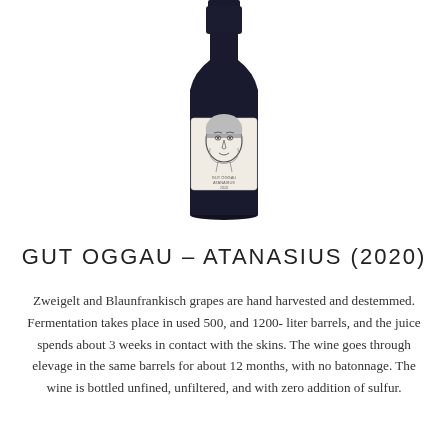[Figure (photo): A wine bottle with a white label featuring a hand-drawn illustration of a young man's face. The bottle is dark glass with a dark cap. Label text reads 'GUT OGGAU ATANASIUS 2020'.]
GUT OGGAU - ATANASIUS (2020)
Zweigelt and Blaunfrankisch grapes are hand harvested and destemmed. Fermentation takes place in used 500, and 1200-liter barrels, and the juice spends about 3 weeks in contact with the skins. The wine goes through elevage in the same barrels for about 12 months, with no batonnage. The wine is bottled unfined, unfiltered, and with zero addition of sulfur.